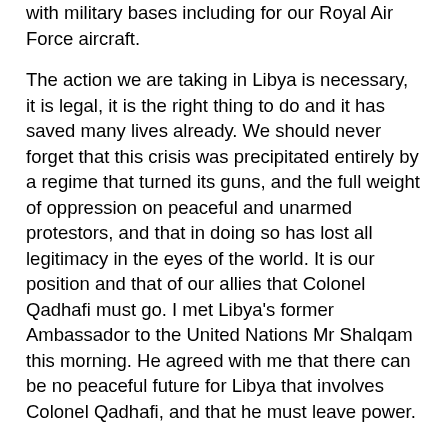with military bases including for our Royal Air Force aircraft.
The action we are taking in Libya is necessary, it is legal, it is the right thing to do and it has saved many lives already. We should never forget that this crisis was precipitated entirely by a regime that turned its guns, and the full weight of oppression on peaceful and unarmed protestors, and that in doing so has lost all legitimacy in the eyes of the world. It is our position and that of our allies that Colonel Qadhafi must go. I met Libya's former Ambassador to the United Nations Mr Shalqam this morning. He agreed with me that there can be no peaceful future for Libya that involves Colonel Qadhafi, and that he must leave power.
There has been no change to the conditions that the Qadhafi regime must meet since they were set out by President Obama and by our Prime Minister and others. That means an end to all attacks and abuses against civilians. That means a genuine and real ceasefire, the withdrawal of regime forces from cities and the full flow of humanitarian assistance to the people of Libya. There should be no ceasefire that does not meet the conditions of UNSC Resolutions 1970 and 1973 in full, and that is not acceptable to those representing the opposition in Libya, including the Interim National Council.